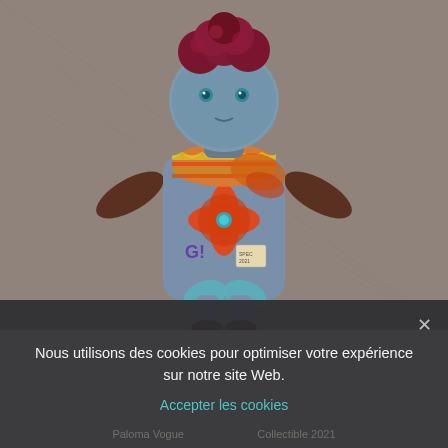[Figure (photo): A handmade stuffed doll/toy bear with a teal/blue head with button eyes, dark red/maroon fuzzy hair, brown fabric arms, and a colorful patchwork body decorated with an orange flower appliqué with a teal gem center, purple lettering, and various fabric patterns including teal and yellow floral designs, wrapped in a multicolored striped/zigzag fabric scarf. The doll is photographed on a gray-brown linen/canvas background.]
Nous utilisons des cookies pour optimiser votre expérience sur notre site Web.
Accepter les cookies
Paloma Vogue ... Collectible 2021